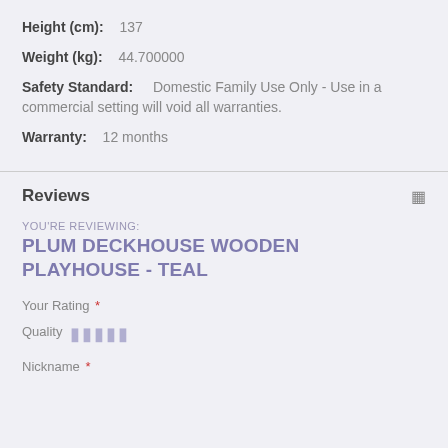Height (cm): 137
Weight (kg): 44.700000
Safety Standard: Domestic Family Use Only - Use in a commercial setting will void all warranties.
Warranty: 12 months
Reviews
YOU'RE REVIEWING:
PLUM DECKHOUSE WOODEN PLAYHOUSE - TEAL
Your Rating *
Quality ★★★★★
Nickname *